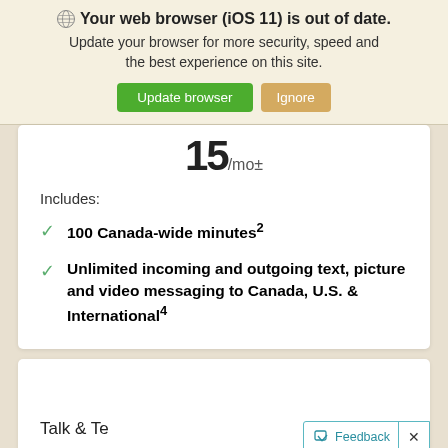Your web browser (iOS 11) is out of date. Update your browser for more security, speed and the best experience on this site.
15/mo±
Includes:
100 Canada-wide minutes²
Unlimited incoming and outgoing text, picture and video messaging to Canada, U.S. & International⁴
Talk & Te
Feedback